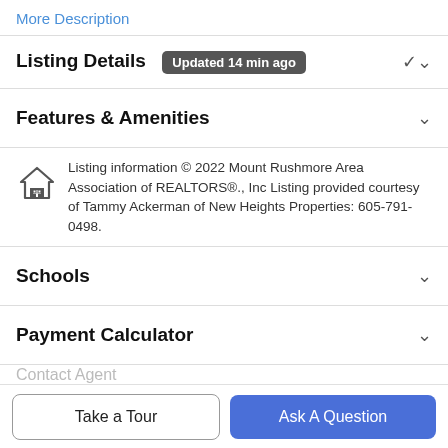More Description
Listing Details
Updated 14 min ago
Features & Amenities
Listing information © 2022 Mount Rushmore Area Association of REALTORS®., Inc Listing provided courtesy of Tammy Ackerman of New Heights Properties: 605-791-0498.
Schools
Payment Calculator
Contact Agent
Take a Tour
Ask A Question